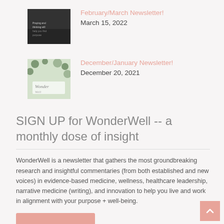[Figure (photo): Thumbnail image for February/March Newsletter - dark moody photo with text]
February/March Newsletter!
March 15, 2022
[Figure (photo): Thumbnail image for December/January Newsletter - botanical/floral design with Wonder Well branding]
December/January Newsletter!
December 20, 2021
SIGN UP for WonderWell -- a monthly dose of insight
WonderWell is a newsletter that gathers the most groundbreaking research and insightful commentaries (from both established and new voices) in evidence-based medicine, wellness, healthcare leadership, narrative medicine (writing), and innovation to help you live and work in alignment with your purpose + well-being.